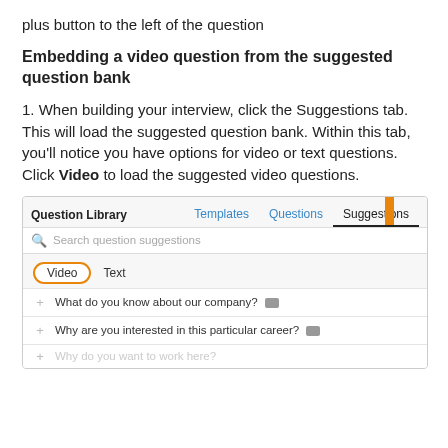plus button to the left of the question
Embedding a video question from the suggested question bank
1. When building your interview, click the Suggestions tab. This will load the suggested question bank. Within this tab, you'll notice you have options for video or text questions. Click Video to load the suggested video questions.
[Figure (screenshot): Screenshot of the Question Library panel showing Templates, Questions, and Suggestions tabs. The Suggestions tab is active and highlighted with an orange arrow. A search bar reads 'Search question suggestions'. Below it are Video and Text sub-tabs, with Video circled in orange. Two question items are visible: 'What do you know about our company?' and 'Why are you interested in this particular career?']